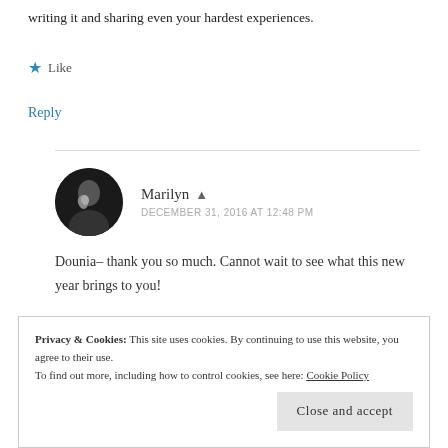writing it and sharing even your hardest experiences.
★ Like
Reply
Marilyn  ▲
DECEMBER 31, 2016 AT 12:48 PM
Dounia– thank you so much. Cannot wait to see what this new year brings to you!
Privacy & Cookies: This site uses cookies. By continuing to use this website, you agree to their use.
To find out more, including how to control cookies, see here: Cookie Policy
Close and accept